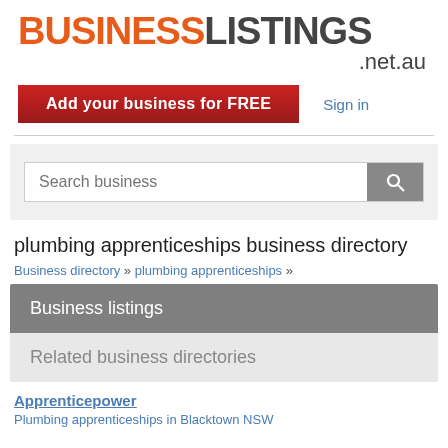[Figure (logo): BusinessListings .net.au logo with BUSINESS in orange and LISTINGS in dark grey, bold large font]
Add your business for FREE   Sign in
Search business
plumbing apprenticeships business directory
Business directory » plumbing apprenticeships »
Business listings
Related business directories
Apprenticepower
Plumbing apprenticeships in Blacktown NSW